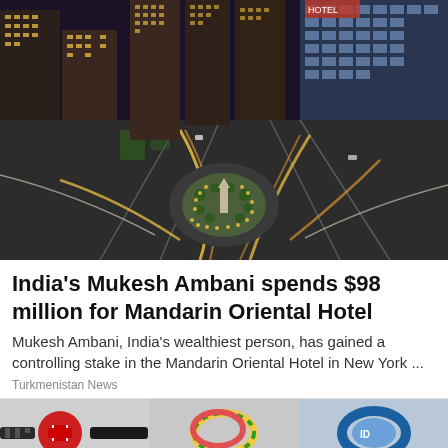[Figure (photo): Aerial night view of Columbus Circle in New York City, showing illuminated skyscrapers, light trails from traffic, and the central monument with surrounding park]
India's Mukesh Ambani spends $98 million for Mandarin Oriental Hotel
Mukesh Ambani, India's wealthiest person, has gained a controlling stake in the Mandarin Oriental Hotel in New York ...
Turkmenistan News
[Figure (photo): Bottom strip showing partial images of bracelets and accessories]